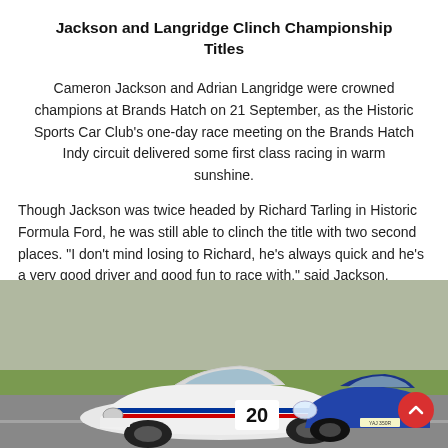Jackson and Langridge Clinch Championship Titles
Cameron Jackson and Adrian Langridge were crowned champions at Brands Hatch on 21 September, as the Historic Sports Car Club's one-day race meeting on the Brands Hatch Indy circuit delivered some first class racing in warm sunshine.
Though Jackson was twice headed by Richard Tarling in Historic Formula Ford, he was still able to clinch the title with two second places. "I don't mind losing to Richard, he's always quick and he's a very good driver and good fun to race with," said Jackson.
[Figure (photo): Two classic Porsche racing cars on track at Brands Hatch Indy circuit. A white Porsche with Martini livery (number 20) leads a blue Porsche 911. Green grass and track barriers visible in background.]